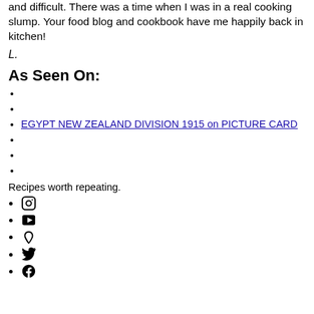and difficult. There was a time when I was in a real cooking slump. Your food blog and cookbook have me happily back in kitchen!
L.
As Seen On:
EGYPT NEW ZEALAND DIVISION 1915 on PICTURE CARD
Recipes worth repeating.
[Instagram icon]
[YouTube icon]
[Pinterest icon]
[Twitter icon]
[Facebook icon]